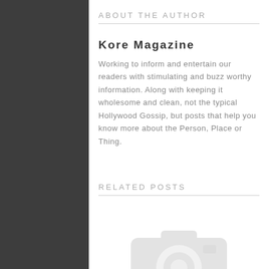ABOUT THE AUTHOR
Kore Magazine
Working to inform and entertain our readers with stimulating and buzz worthy information. Along with keeping it wholesome and clean, not the typical Hollywood Gossip, but posts that help you know more about the Person, Place or Thing.
RELATED POSTS
[Figure (photo): Placeholder camera icon image for a related post]
Atlanta Football Classic NEW